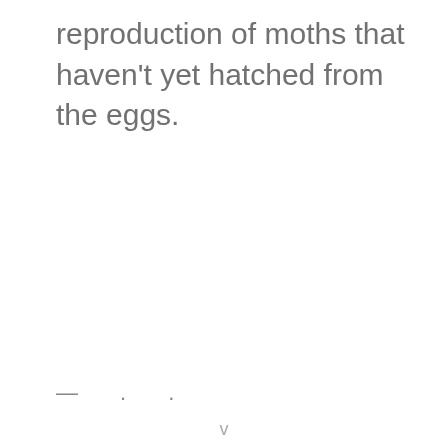reproduction of moths that haven't yet hatched from the eggs.
— . .
v